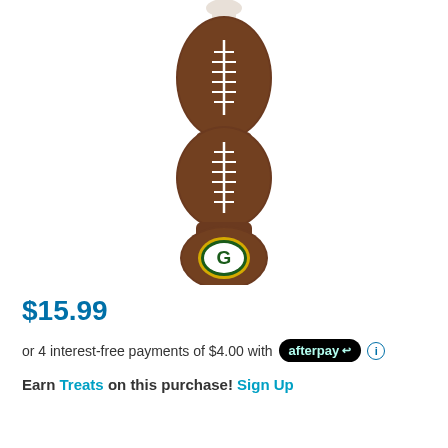[Figure (photo): A plush dog toy shaped like a football/dumbbell with two football-textured sections with white laces and a bottom section with a Green Bay Packers 'G' logo patch, brown fur-like texture throughout]
$15.99
or 4 interest-free payments of $4.00 with afterpay ℹ
Earn Treats on this purchase! Sign Up